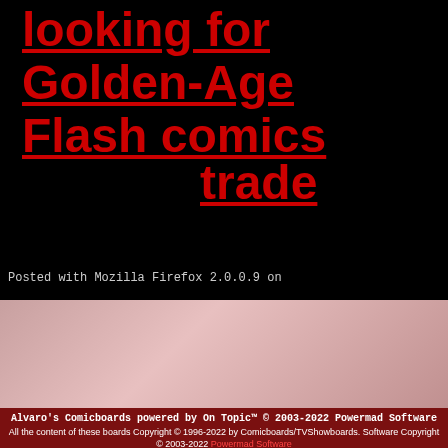looking for Golden-Age Flash comics
trade
Posted with Mozilla Firefox 2.0.0.9 on
Alvaro's Comicboards powered by On Topic™ © 2003-2022 Powermad Software
All the content of these boards Copyright © 1996-2022 by Comicboards/TVShowboards. Software Copyright © 2003-2022 Powermad Software